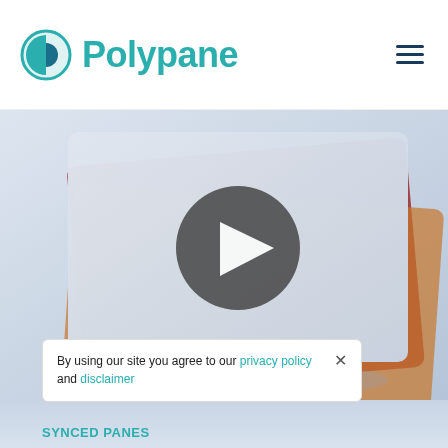Polypane
[Figure (screenshot): Video player with play button showing stacked colorful cards (red, dark red, orange) on a light gray/blue background]
By using our site you agree to our privacy policy and disclaimer
SYNCED PANES